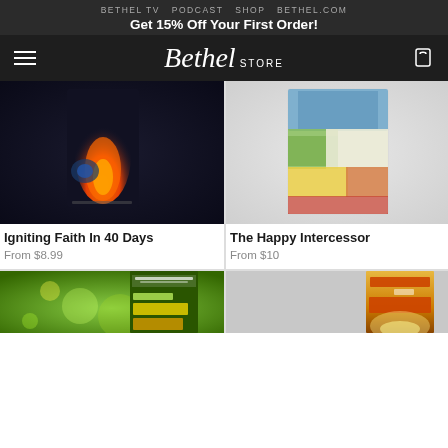BETHEL TV   PODCAST   SHOP   BETHEL.COM
Get 15% Off Your First Order!
[Figure (logo): Bethel Store logo with hamburger menu and cart icon on dark background]
[Figure (photo): Igniting Faith In 40 Days book cover - dark background with orange flame]
Igniting Faith In 40 Days
From $8.99
[Figure (photo): The Happy Intercessor book cover - colorful abstract design with blue, green, yellow, orange, red]
The Happy Intercessor
From $10
[Figure (photo): Let's Just Laugh book cover by Steve Backlund - green background with bokeh lights]
[Figure (photo): Praying the Power book cover - orange/yellow gradient with dramatic lighting]